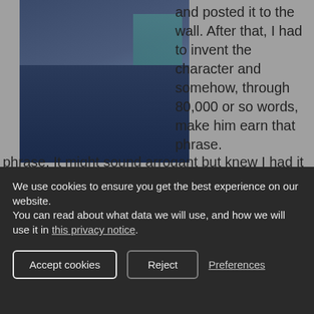[Figure (photo): Portrait photo of Nadim Safdar wearing a dark blue suit with a teal/geometric patterned tie or shirt, shown from approximately chest up]
Nadim Safdar (Image credit: Sahar Afzal)
and posted it to the wall. After that, I had to invent the character and somehow, through 80,000 or so words, make him earn that phrase. It might sound arrogant but knew I had it in that first
We use cookies to ensure you get the best experience on our website.
You can read about what data we will use, and how we will use it in this privacy notice.
Accept cookies   Reject   Preferences